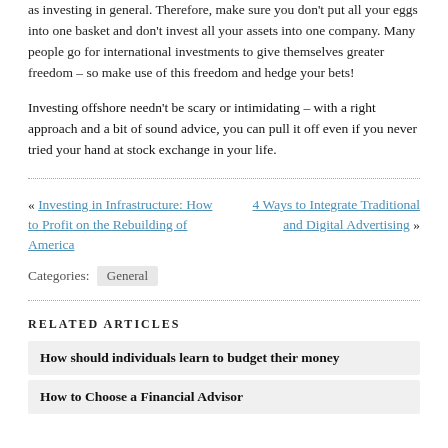as investing in general. Therefore, make sure you don't put all your eggs into one basket and don't invest all your assets into one company. Many people go for international investments to give themselves greater freedom – so make use of this freedom and hedge your bets!
Investing offshore needn't be scary or intimidating – with a right approach and a bit of sound advice, you can pull it off even if you never tried your hand at stock exchange in your life.
« Investing in Infrastructure: How to Profit on the Rebuilding of America   4 Ways to Integrate Traditional and Digital Advertising »
Categories: General
RELATED ARTICLES
How should individuals learn to budget their money
How to Choose a Financial Advisor